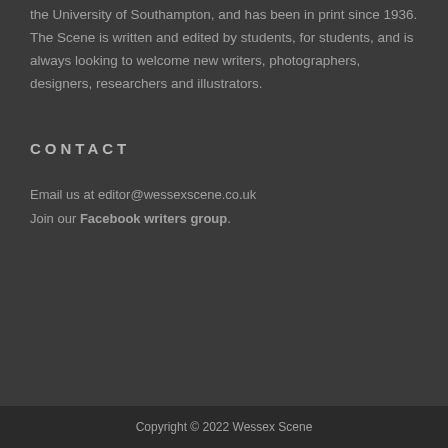the University of Southampton, and has been in print since 1936. The Scene is written and edited by students, for students, and is always looking to welcome new writers, photographers, designers, researchers and illustrators.
CONTACT
Email us at editor@wessexscene.co.uk
Join our Facebook writers group.
Copyright © 2022 Wessex Scene